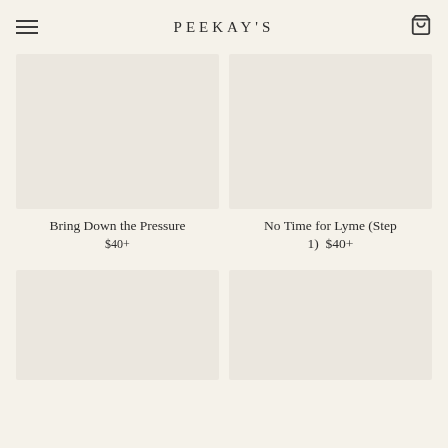PEEKAY'S
Bring Down the Pressure
$40+
No Time for Lyme (Step 1)  $40+
[Figure (other): Empty product image placeholder (bottom-left)]
[Figure (other): Empty product image placeholder (bottom-right)]